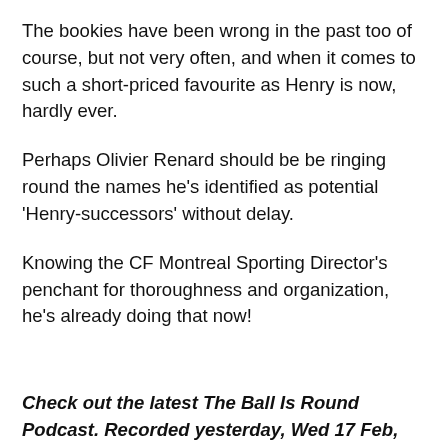The bookies have been wrong in the past too of course, but not very often, and when it comes to such a short-priced favourite as Henry is now, hardly ever.
Perhaps Olivier Renard should be be ringing round the names he's identified as potential 'Henry-successors' without delay.
Knowing the CF Montreal Sporting Director's penchant for thoroughness and organization, he's already doing that now!
Check out the latest The Ball Is Round Podcast. Recorded yesterday, Wed 17 Feb, we cover the Henry/Renard story and much more. Have a listen!